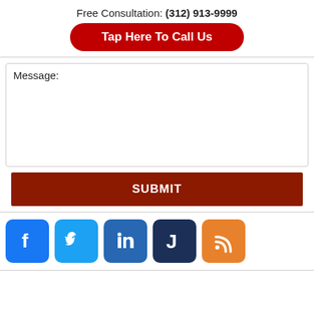Free Consultation: (312) 913-9999
[Figure (other): Red rounded button: Tap Here To Call Us]
Message:
[Figure (other): SUBMIT button (dark red/brown rectangle)]
[Figure (other): Social media icons: Facebook, Twitter, LinkedIn, Justia, RSS Feed]